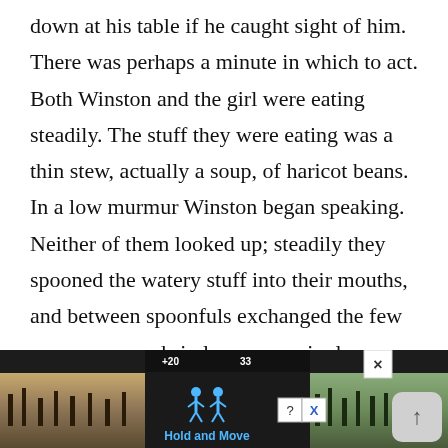down at his table if he caught sight of him. There was perhaps a minute in which to act. Both Winston and the girl were eating steadily. The stuff they were eating was a thin stew, actually a soup, of haricot beans. In a low murmur Winston began speaking. Neither of them looked up; steadily they spooned the watery stuff into their mouths, and between spoonfuls exchanged the few necessary words in low expressionless
[Figure (screenshot): Mobile advertisement banner at the bottom showing a dark background with a 'Hold and Move' app/game ad, person icons in blue, score display at top, and landscape photos on sides. Close button (X) and up-arrow button visible.]